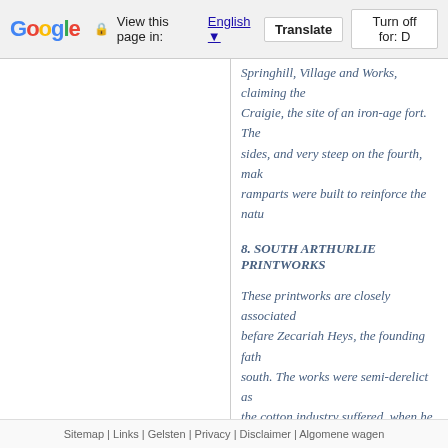Google | View this page in: English | Translate | Turn off for: D
Springhill, Village and Works, claiming the Craigie, the site of an iron-age fort. The sides, and very steep on the fourth, mak ramparts were built to reinforce the natu
8. SOUTH ARTHURLIE PRINTWORKS
These printworks are closely associated befare Zecariah Heys, the founding fath south. The works were semi-derelict as the cotton industry suffered, when he bo works were revitalised and returned to p The gate in the picture is a garden gate the Heys family's mansion at South Arth works have gone but the system of lade them can still be seen.
<< | < | 1 | 2 | 3
Zoeken | Uitgebreid zoeken | Alfabetisch o
Sitemap | Links | Gelsten | Privacy | Disclaimer | Algomene wagen